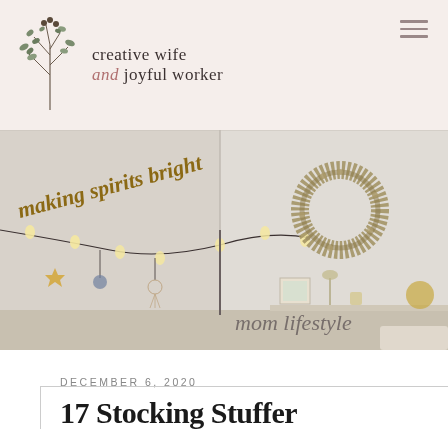creative wife and joyful worker
[Figure (photo): A cozy room decorated with string lights, a 'making spirits bright' banner in wooden letters, hanging star and dream catcher ornaments, and a feathery wreath on the wall.]
mom lifestyle
DECEMBER 6, 2020
17 Stocking Stuffer